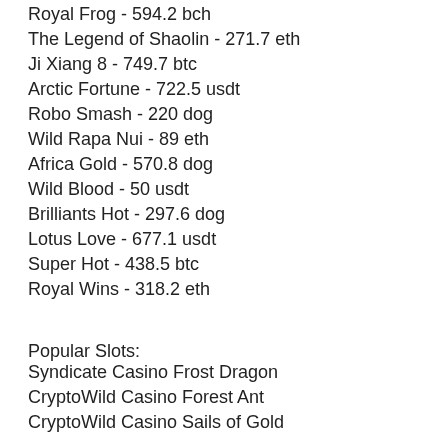Royal Frog - 594.2 bch
The Legend of Shaolin - 271.7 eth
Ji Xiang 8 - 749.7 btc
Arctic Fortune - 722.5 usdt
Robo Smash - 220 dog
Wild Rapa Nui - 89 eth
Africa Gold - 570.8 dog
Wild Blood - 50 usdt
Brilliants Hot - 297.6 dog
Lotus Love - 677.1 usdt
Super Hot - 438.5 btc
Royal Wins - 318.2 eth
Popular Slots:
Syndicate Casino Frost Dragon
CryptoWild Casino Forest Ant
CryptoWild Casino Sails of Gold
Bspin.io Casino Mr.Vegas
1xBit Casino Cirque du Slots
Mars Casino Grand Bazaar